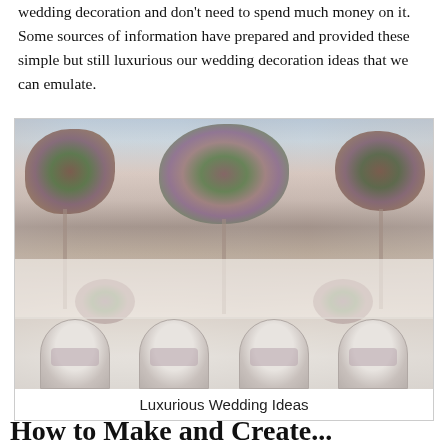wedding decoration and don't need to spend much money on it. Some sources of information have prepared and provided these simple but still luxurious our wedding decoration ideas that we can emulate.
[Figure (photo): A luxurious wedding reception table decorated with tall floral arrangements of pink, burgundy, and white flowers with greenery, pink candles, and elegant table settings; white rounded-back chairs in the foreground.]
Luxurious Wedding Ideas
How to Make and Create...